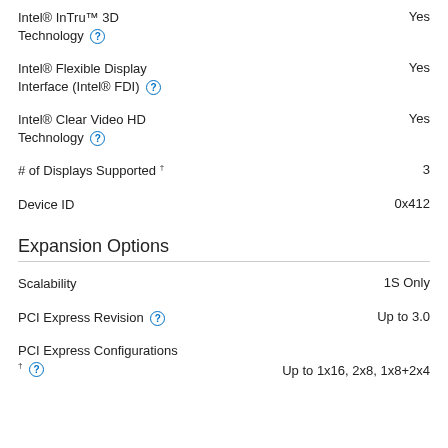Intel® InTru™ 3D Technology — Yes
Intel® Flexible Display Interface (Intel® FDI) — Yes
Intel® Clear Video HD Technology — Yes
# of Displays Supported † — 3
Device ID — 0x412
Expansion Options
Scalability — 1S Only
PCI Express Revision — Up to 3.0
PCI Express Configurations † — Up to 1x16, 2x8, 1x8+2x4